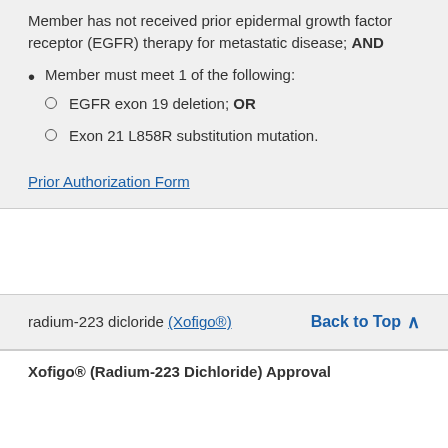Member has not received prior epidermal growth factor receptor (EGFR) therapy for metastatic disease; AND
Member must meet 1 of the following:
EGFR exon 19 deletion; OR
Exon 21 L858R substitution mutation.
Prior Authorization Form
radium-223 dicloride (Xofigo®)   Back to Top
Xofigo® (Radium-223 Dichloride) Approval